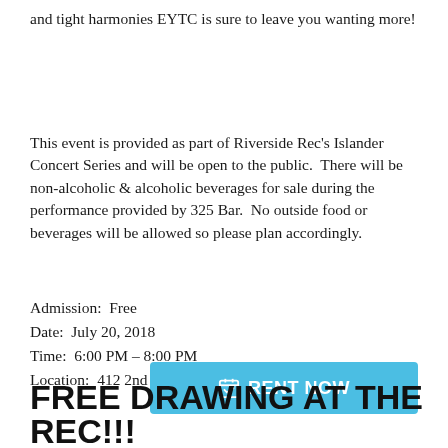and tight harmonies EYTC is sure to leave you wanting more!
This event is provided as part of Riverside Rec's Islander Concert Series and will be open to the public.  There will be non-alcoholic & alcoholic beverages for sale during the performance provided by 325 Bar.  No outside food or beverages will be allowed so please plan accordingly.
Admission:  Free
Date:  July 20, 2018
Time:  6:00 PM – 8:00 PM
Location:  412 2nd Street West, Polson, MT 59860
[Figure (screenshot): Twitter share button (partially visible) and a cyan 'RENT NOW' button with calendar icon overlay]
FREE DRAWING AT THE REC!!!